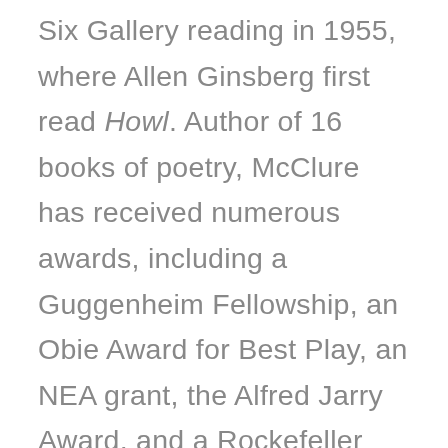Six Gallery reading in 1955, where Allen Ginsberg first read Howl. Author of 16 books of poetry, McClure has received numerous awards, including a Guggenheim Fellowship, an Obie Award for Best Play, an NEA grant, the Alfred Jarry Award, and a Rockefeller grant for playwriting. His play The Beard provoked numerous censorship battles. In Los Angeles, the cast was arrested after each performance for fourteen nights in a row. Later, The Beard received two Obies in New York, and it has played a role in U.S. censorship and free speech